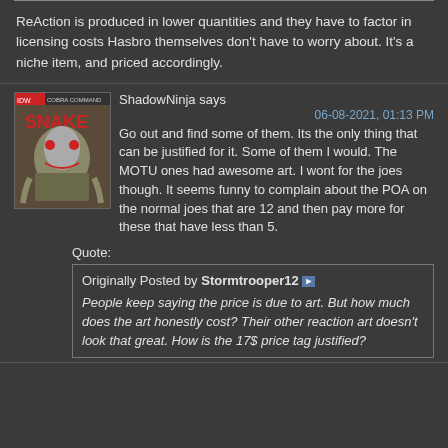ReAction is produced in lower quantities and they have to factor in licensing costs Hasbro themselves don't have to worry about. It's a niche item, and priced accordingly.
ShadowNinja says
06-08-2021, 01:13 PM
Go out and find some of them. Its the only thing that can be justified for it. Some of them I would. The MOTU ones had awesome art. I wont for the joes though. It seems funny to complain about the POA on the normal joes that are 12 and then pay more for these that have less than 5.
Quote:
Originally Posted by Stormtrooper12 ► People keep saying the price is due to art. But how much does the art honestly cost? Their other reaction art doesn't look that great. How is the 17$ price tag justified?